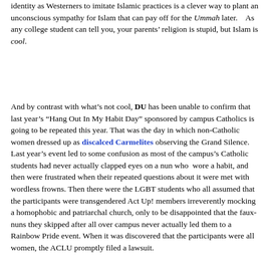identity as Westerners to imitate Islamic practices is a clever way to plant an unconscious sympathy for Islam that can pay off for the Ummah later.    As any college student can tell you, your parents' religion is stupid, but Islam is cool.
And by contrast with what's not cool, DU has been unable to confirm that last year's “Hang Out In My Habit Day” sponsored by campus Catholics is going to be repeated this year. That was the day in which non-Catholic women dressed up as discalced Carmelites observing the Grand Silence.  Last year’s event led to some confusion as most of the campus’s Catholic students had never actually clapped eyes on a nun who  wore a habit, and then were frustrated when their repeated questions about it were met with wordless frowns. Then there were the LGBT students who all assumed that the participants were transgendered Act Up! members irreverently mocking  a homophobic and patriarchal church, only to be disappointed that the faux-nuns they skipped after all over campus never actually led them to a Rainbow Pride event. When it was discovered that the participants were all women, the ACLU promptly filed a lawsuit.